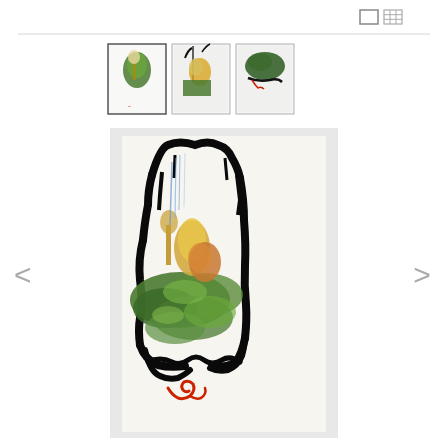[Figure (screenshot): Gallery/artwork viewer interface showing three thumbnail images of paintings at top and a large main painting view below. The artwork features abstract forms with dark black swirling outlines, green landscape-like shapes, yellow-orange figurative elements, and a red curling shape at the bottom, on a white/cream canvas background. Navigation arrows on left and right sides. View mode icons (single and grid) at top right corner.]